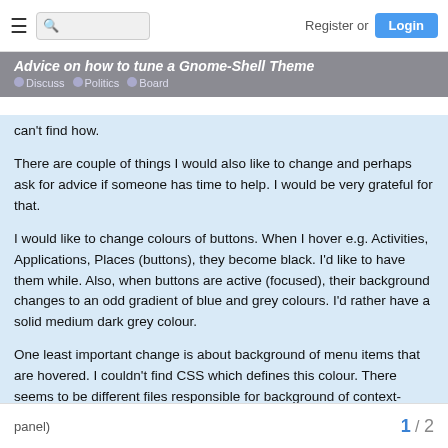☰  [search] Register or Login
Advice on how to tune a Gnome-Shell Theme
can't find how.
There are couple of things I would also like to change and perhaps ask for advice if someone has time to help. I would be very grateful for that.
I would like to change colours of buttons. When I hover e.g. Activities, Applications, Places (buttons), they become black. I'd like to have them while. Also, when buttons are active (focused), their background changes to an odd gradient of blue and grey colours. I'd rather have a solid medium dark grey colour.
One least important change is about background of menu items that are hovered. I couldn't find CSS which defines this colour. There seems to be different files responsible for background of context-menu and menu inside Applications (opened from a Top panel)
1 / 2